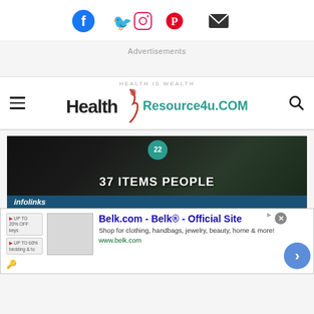Social icons: Facebook, Twitter, Instagram, Pinterest, Email
Advertisements
[Figure (logo): HealthResource4u.COM logo with tagline HEALTH IS WEALTH, hamburger menu icon and search icon]
[Figure (screenshot): Article thumbnail showing knives on dark background with text '37 ITEMS PEOPLE' and a teal badge with '22']
infolinks
[Figure (screenshot): Belk.com advertisement overlay: Belk.com - Belk® - Official Site | Shop for clothing, handbags, jewelry, beauty, home & more! | www.belk.com]